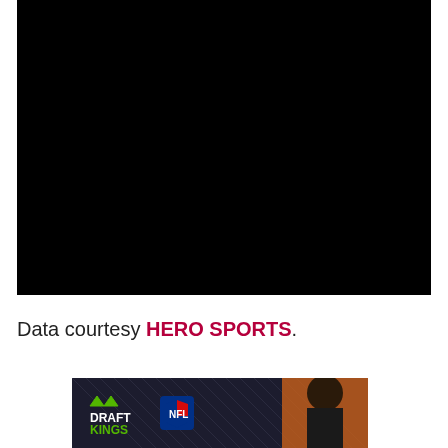[Figure (photo): Large black/dark photograph taking up the top portion of the page]
Data courtesy HERO SPORTS.
[Figure (photo): DraftKings NFL advertisement banner showing a football player with DraftKings and NFL logos]